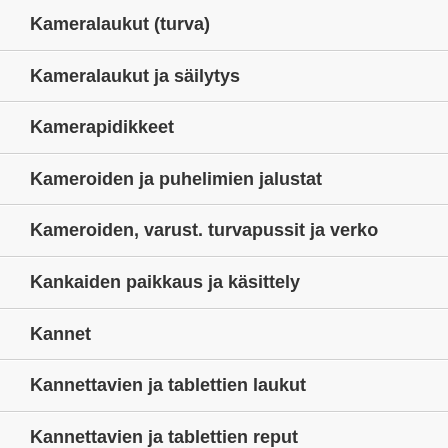Kameralaukut (turva)
Kameralaukut ja säilytys
Kamerapidikkeet
Kameroiden ja puhelimien jalustat
Kameroiden, varust. turvapussit ja verko
Kankaiden paikkaus ja käsittely
Kannet
Kannettavien ja tablettien laukut
Kannettavien ja tablettien reput